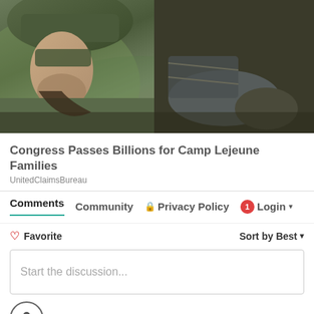[Figure (photo): Close-up photo of military soldiers in tactical gear, helmets and camouflage, appearing to be in an embrace or close physical contact outdoors]
Congress Passes Billions for Camp Lejeune Families
UnitedClaimsBureau
Comments   Community   🔒 Privacy Policy   1  Login ▾
♡ Favorite   Sort by Best ▾
Start the discussion...
LOG IN WITH
[Figure (other): Social login icons: email (dark), Facebook (blue), Twitter (light blue), Google (red)]